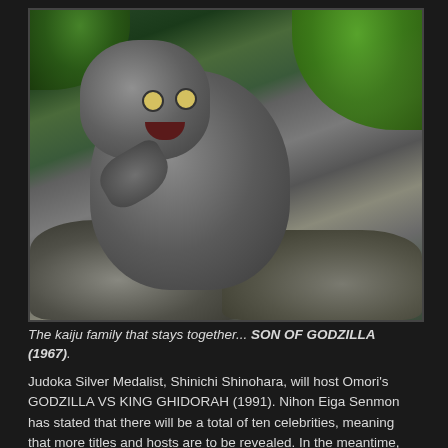[Figure (photo): A photograph of a monster/kaiju creature (Son of Godzilla) — a gray, humanoid reptilian figure crouched on rocks with tropical foliage in the background.]
The kaiju family that stays together... SON OF GODZILLA (1967).
Judoka Silver Medalist, Shinichi Shinohara, will host Omori's GODZILLA VS KING GHIDORAH (1991). Nihon Eiga Senmon has stated that there will be a total of ten celebrities, meaning that more titles and hosts are to be revealed. In the meantime, they have also announced a 24-hour Marathon of Big G movies on the eve of